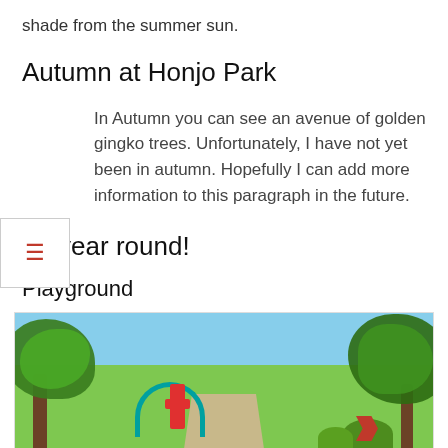shade from the summer sun.
Autumn at Honjo Park
In Autumn you can see an avenue of golden gingko trees. Unfortunately, I have not yet been in autumn. Hopefully I can add more information to this paragraph in the future.
All year round!
Playground
[Figure (photo): Outdoor playground at Honjo Park with trees in the foreground, a path, playground equipment including a slide arc and red structures, and shrubs.]